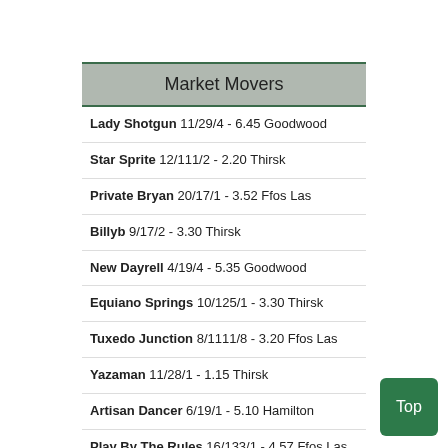Market Movers
Lady Shotgun 11/29/4 - 6.45 Goodwood
Star Sprite 12/111/2 - 2.20 Thirsk
Private Bryan 20/17/1 - 3.52 Ffos Las
Billyb 9/17/2 - 3.30 Thirsk
New Dayrell 4/19/4 - 5.35 Goodwood
Equiano Springs 10/125/1 - 3.30 Thirsk
Tuxedo Junction 8/1111/8 - 3.20 Ffos Las
Yazaman 11/28/1 - 1.15 Thirsk
Artisan Dancer 6/19/1 - 5.10 Hamilton
Play By The Rules 16/133/1 - 4.57 Ffos Las
More Movers